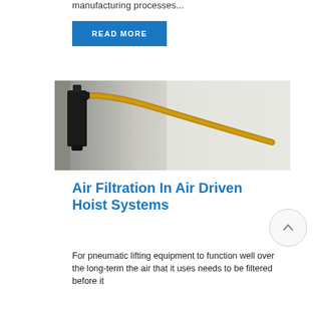manufacturing processes...
READ MORE
[Figure (photo): Black pneumatic air filter/regulator device mounted on a wall with an orange/tan flexible hose curving from it across a light background]
Air Filtration In Air Driven Hoist Systems
For pneumatic lifting equipment to function well over the long-term the air that it uses needs to be filtered before it